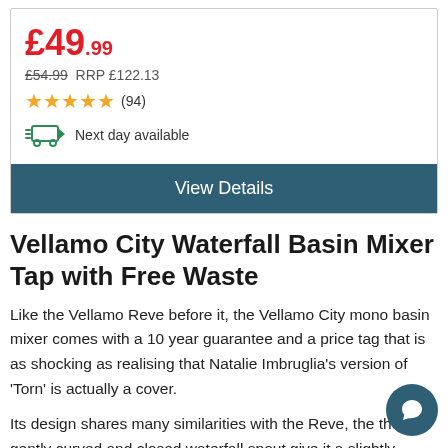£49.99
£54.99  RRP £122.13
★★★★★ (94)
Next day available
View Details
Vellamo City Waterfall Basin Mixer Tap with Free Waste
Like the Vellamo Reve before it, the Vellamo City mono basin mixer comes with a 10 year guarantee and a price tag that is as shocking as realising that Natalie Imbruglia's version of 'Torn' is actually a cover.
Its design shares many similarities with the Reve, the the gently curved and closed waterfall spout give it a slightly softer look – ideal for bathrooms with warmer